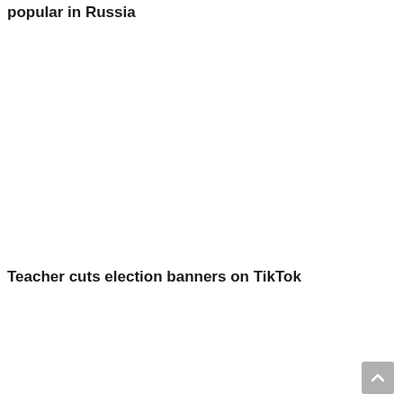popular in Russia
Teacher cuts election banners on TikTok